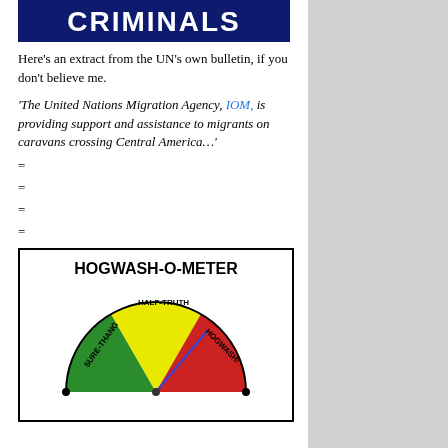[Figure (illustration): Dark blue banner with white bold text reading CRIMINALS]
Here's an extract from the UN's own bulletin, if you don't believe me.
'The United Nations Migration Agency, IOM, is providing support and assistance to migrants on caravans crossing Central America…'
=
=
=
=
[Figure (illustration): Hogwash-O-Meter gauge image showing a dial pointing toward HOGWASH, with sections labeled SURE-THANG (green), HALF-TRUTH (yellow), and HOGWASH (red)]